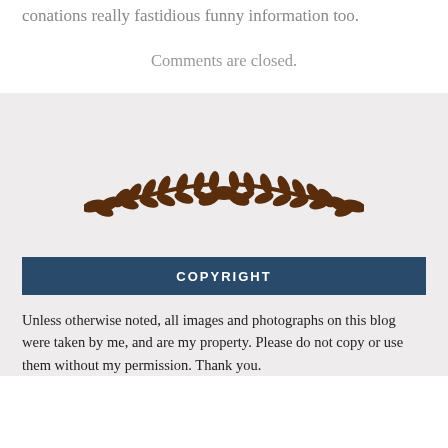conations really fastidious funny information too.
Comments are closed.
[Figure (illustration): Decorative brown laurel/leaf branch wreath ornament centered on a light gray background]
COPYRIGHT
Unless otherwise noted, all images and photographs on this blog were taken by me, and are my property. Please do not copy or use them without my permission. Thank you.